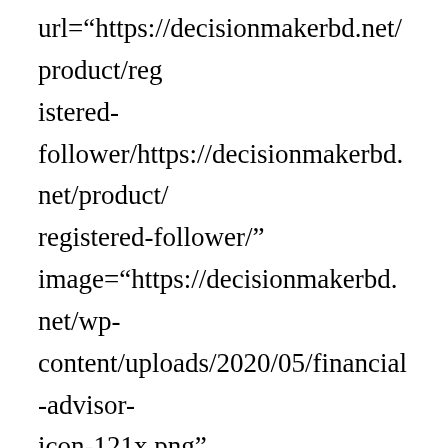url="https://decisionmakerbd.net/product/registered-follower/https://decisionmakerbd.net/product/registered-follower/" image="https://decisionmakerbd.net/wp-content/uploads/2020/05/financial-advisor-icon-121x.png" icon_placement="left" image_max_width="64px" content_max_width="100%" image_max_width_tablet="" image_max_width_phone="32px"